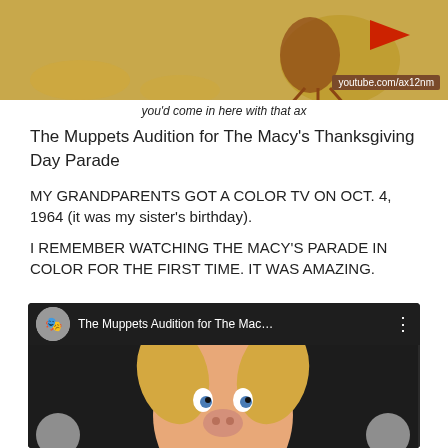[Figure (screenshot): Top portion of a YouTube video thumbnail showing a cartoon turkey/Muppet scene with golden background and text 'youtube.com/ax12nm'. A caption strip reads 'you'd come in here with that ax']
you'd come in here with that ax
The Muppets Audition for The Macy's Thanksgiving Day Parade
MY GRANDPARENTS GOT A COLOR TV ON OCT. 4, 1964 (it was my sister's birthday).
I REMEMBER WATCHING THE MACY'S PARADE IN COLOR FOR THE FIRST TIME. IT WAS AMAZING.
[Figure (screenshot): YouTube video embed showing 'The Muppets Audition for The Mac...' with Miss Piggy as thumbnail, red play button, and studio spotlights in background]